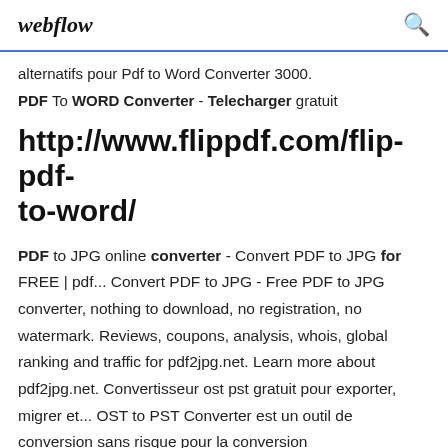webflow
alternatifs pour Pdf to Word Converter 3000.
PDF To WORD Converter - Telecharger gratuit
http://www.flippdf.com/flip-pdf-to-word/
PDF to JPG online converter - Convert PDF to JPG for FREE | pdf... Convert PDF to JPG - Free PDF to JPG converter, nothing to download, no registration, no watermark. Reviews, coupons, analysis, whois, global ranking and traffic for pdf2jpg.net. Learn more about pdf2jpg.net. Convertisseur ost pst gratuit pour exporter, migrer et... OST to PST Converter est un outil de conversion sans risque pour la conversion